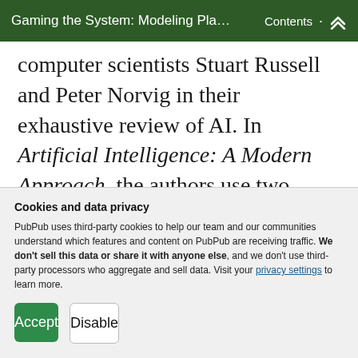Gaming the System: Modeling Pla… Contents ︽
computer scientists Stuart Russell and Peter Norvig in their exhaustive review of AI. In Artificial Intelligence: A Modern Approach, the authors use two lenses to separate AI into four categories: Thinking Humanly, Thinking Rationally, Acting Humanly, and Acting Rationally.⁸ With play, we adopt two slightly different
Cookies and data privacy
PubPub uses third-party cookies to help our team and our communities understand which features and content on PubPub are receiving traffic. We don't sell this data or share it with anyone else, and we don't use third-party processors who aggregate and sell data. Visit your privacy settings to learn more.
Accept  Disable